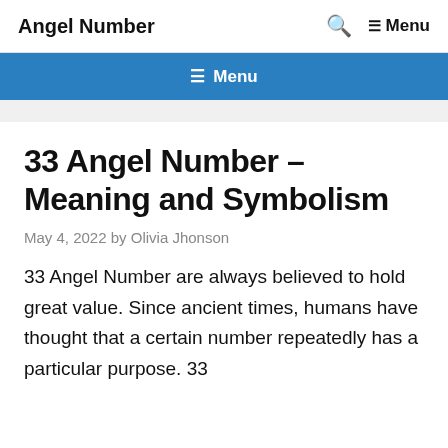Angel Number
≡ Menu
33 Angel Number – Meaning and Symbolism
May 4, 2022 by Olivia Jhonson
33 Angel Number are always believed to hold great value. Since ancient times, humans have thought that a certain number repeatedly has a particular purpose. 33